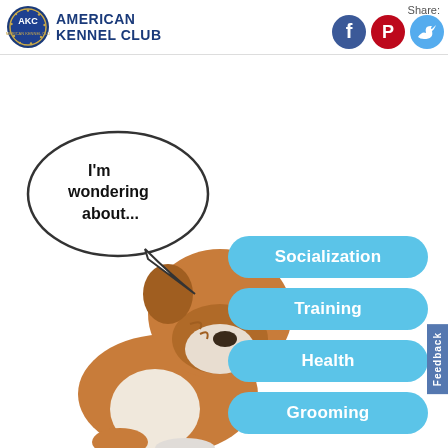[Figure (logo): American Kennel Club logo with circular AKC badge and text 'American Kennel Club']
Share:
[Figure (infographic): Social media share icons: Facebook (blue circle with f), Pinterest (red circle with P), Twitter (light blue circle with bird)]
[Figure (photo): English Bulldog puppy sitting and looking upward, with a speech bubble saying 'I'm wondering about...']
Socialization
Training
Health
Grooming